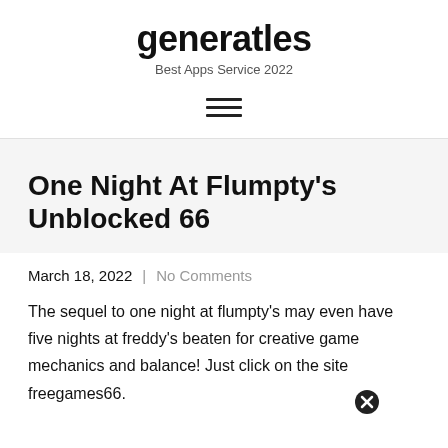generatles
Best Apps Service 2022
One Night At Flumpty’s Unblocked 66
March 18, 2022  |  No Comments
The sequel to one night at flumpty’s may even have five nights at freddy’s beaten for creative game mechanics and balance! Just click on the site freegames66.